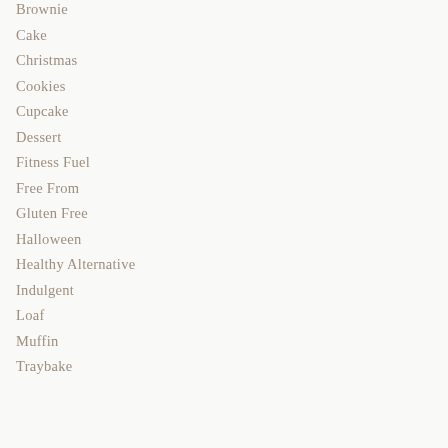Brownie
Cake
Christmas
Cookies
Cupcake
Dessert
Fitness Fuel
Free From
Gluten Free
Halloween
Healthy Alternative
Indulgent
Loaf
Muffin
Traybake